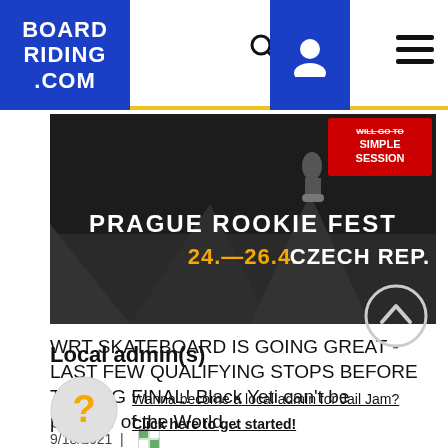BOARD RIDING .COM
[Figure (photo): Prague Rookie Fest event banner. Dark background with skatepark imagery. Text reads: PRAGUE ROOKIE FEST 24.—26.4. CZECH REP. with Simple Session logo in top right corner.]
WRT SKATEBOARD IS GOING GREAT - LAST FEW QUALIFYING STOPS BEFORE THE BIG FINAL! Black Yeti can't be prouder of the World...
9/18/2021
Local admin(s)
Wanna become a local admin for Jail Jam?
Click here to get started!